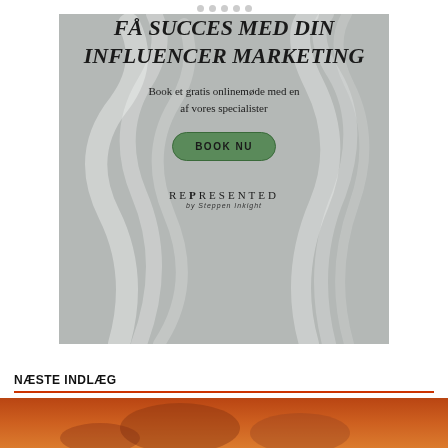· · · · ·
[Figure (illustration): Advertisement banner with smoky grey background. Text reads: FÅ SUCCES MED DIN INFLUENCER MARKETING. Book et gratis onlinemøde med en af vores specialister. Green button: BOOK NU. Logo: REPRESENTED by Steppen Inkight.]
NÆSTE INDLÆG
[Figure (photo): Partial image with warm orange/brown tones at the bottom of the page, next post preview thumbnail.]